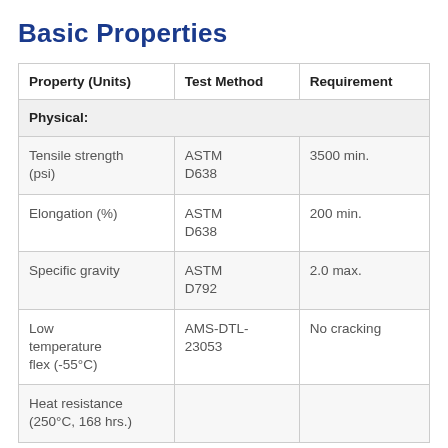Basic Properties
| Property (Units) | Test Method | Requirement |
| --- | --- | --- |
| Physical: |  |  |
| Tensile strength (psi) | ASTM D638 | 3500 min. |
| Elongation (%) | ASTM D638 | 200 min. |
| Specific gravity | ASTM D792 | 2.0 max. |
| Low temperature flex (-55°C) | AMS-DTL-23053 | No cracking |
| Heat resistance (250°C, 168 hrs.) |  |  |